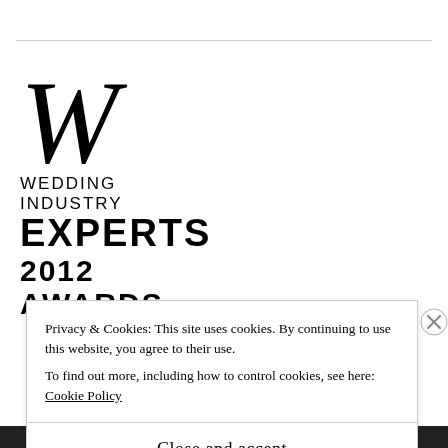[Figure (logo): Wedding Industry Experts 2012 Awards logo featuring a large italic W lettermark above the brand text]
Privacy & Cookies: This site uses cookies. By continuing to use this website, you agree to their use.
To find out more, including how to control cookies, see here: Cookie Policy
Close and accept